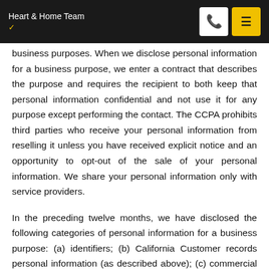Heart & Home Team
business purposes. When we disclose personal information for a business purpose, we enter a contract that describes the purpose and requires the recipient to both keep that personal information confidential and not use it for any purpose except performing the contact. The CCPA prohibits third parties who receive your personal information from reselling it unless you have received explicit notice and an opportunity to opt-out of the sale of your personal information. We share your personal information only with service providers.
In the preceding twelve months, we have disclosed the following categories of personal information for a business purpose: (a) identifiers; (b) California Customer records personal information (as described above); (c) commercial information; (d) internet or other similar network activity; and